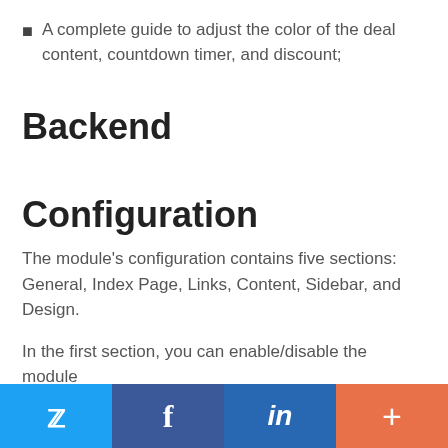A complete guide to adjust the color of the deal content, countdown timer, and discount;
Backend
Configuration
The module's configuration contains five sections: General, Index Page, Links, Content, Sidebar, and Design.
In the first section, you can enable/disable the module
[Figure (infographic): Social sharing bar with Twitter (blue), Facebook (dark blue), LinkedIn (medium blue), and a plus/more button (orange-red)]